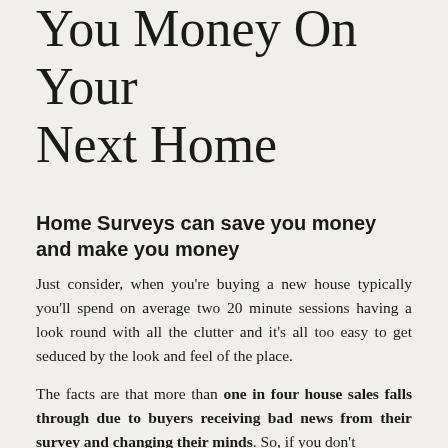You Money On Your Next Home
Home Surveys can save you money and make you money
Just consider, when you're buying a new house typically you'll spend on average two 20 minute sessions having a look round with all the clutter and it's all too easy to get seduced by the look and feel of the place.
The facts are that more than one in four house sales falls through due to buyers receiving bad news from their survey and changing their minds. So, if you don't